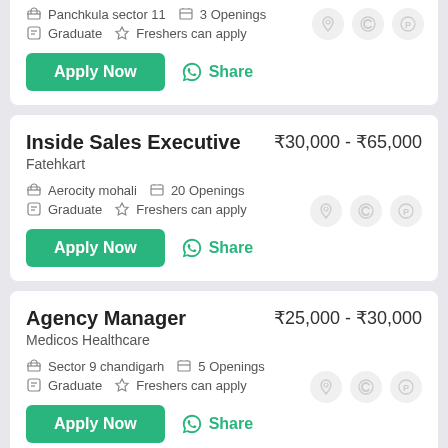Panchkula sector 11   3 Openings   Graduate   Freshers can apply
Apply Now   Share
Inside Sales Executive
₹30,000 - ₹65,000
Fatehkart
Aerocity mohali   20 Openings   Graduate   Freshers can apply
Apply Now   Share
Agency Manager
₹25,000 - ₹30,000
Medicos Healthcare
Sector 9 chandigarh   5 Openings   Graduate   Freshers can apply
Apply Now   Share